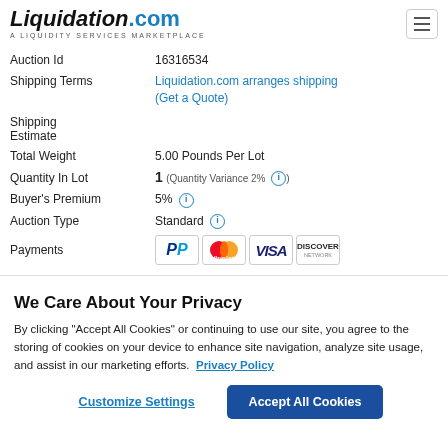[Figure (logo): Liquidation.com logo with tagline 'A LIQUIDITY SERVICES MARKETPLACE']
| Field | Value |
| --- | --- |
| Auction Id | 16316534 |
| Shipping Terms | Liquidation.com arranges shipping |
| Shipping Estimate | (Get a Quote) |
| Total Weight | 5.00 Pounds Per Lot |
| Quantity In Lot | 1 (Quantity Variance 2%) |
| Buyer's Premium | 5% |
| Auction Type | Standard |
| Payments | PayPal, MasterCard, VISA, Discover |
We Care About Your Privacy
By clicking “Accept All Cookies” or continuing to use our site, you agree to the storing of cookies on your device to enhance site navigation, analyze site usage, and assist in our marketing efforts. Privacy Policy
Customize Settings
Accept All Cookies